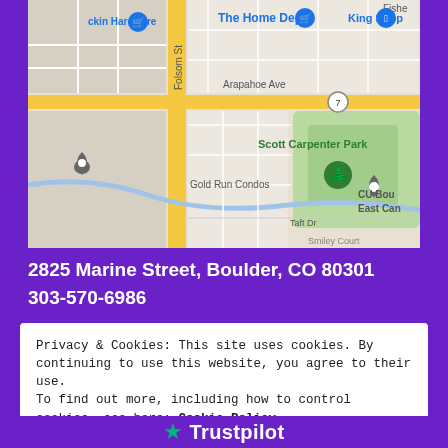[Figure (map): Google Maps screenshot showing area around 2825 Marine Street, Boulder, CO. Shows Scott Carpenter Park, Gold Run Condos, Arapahoe Ave, Folsom St, Taft Dr, The Home Depot, King Soopers, and other landmarks.]
2825 Marine Street, Boulder, CO 80301
303-570-6986
Privacy & Cookies: This site uses cookies. By continuing to use this website, you agree to their use.
To find out more, including how to control cookies, see here: Cookie Policy
Close and accept
Trustpilot